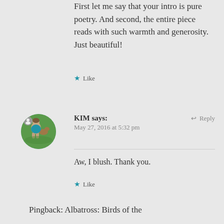First let me say that your intro is pure poetry. And second, the entire piece reads with such warmth and generosity. Just beautiful!
★ Like
[Figure (photo): Circular avatar photo of Kim, a woman crouching with a dog outdoors on green grass]
KIM says:   ↩ Reply
May 27, 2016 at 5:32 pm
Aw, I blush. Thank you.
★ Like
Pingback: Albatross: Birds of the